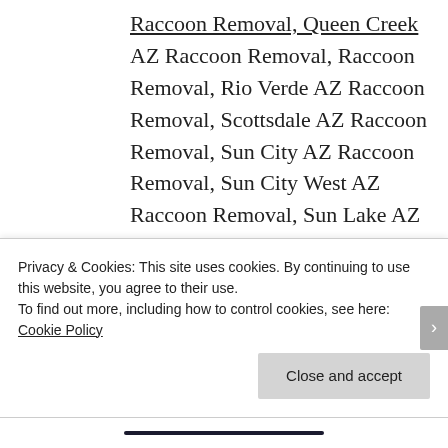Raccoon Removal, Queen Creek AZ Raccoon Removal, Raccoon Removal, Rio Verde AZ Raccoon Removal, Scottsdale AZ Raccoon Removal, Sun City AZ Raccoon Removal, Sun City West AZ Raccoon Removal, Sun Lake AZ Raccoon Removal, Surprise AZ Raccoon Removal, Raccoon Removal, Tempe AZ Raccoon Removal,
Privacy & Cookies: This site uses cookies. By continuing to use this website, you agree to their use.
To find out more, including how to control cookies, see here: Cookie Policy